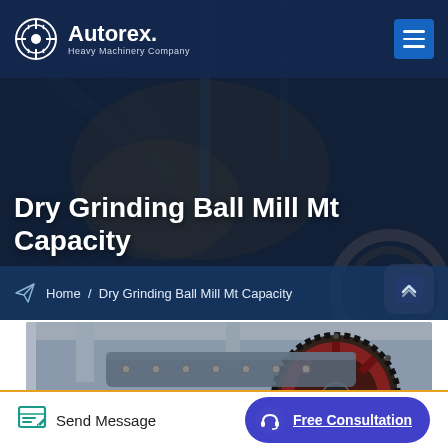Autorex Heavy Machinery Company
Dry Grinding Ball Mill Mt Capacity
Home / Dry Grinding Ball Mill Mt Capacity
[Figure (photo): Industrial heavy machinery / ball mill gear ring in a factory setting]
Send Message
Free Consultation